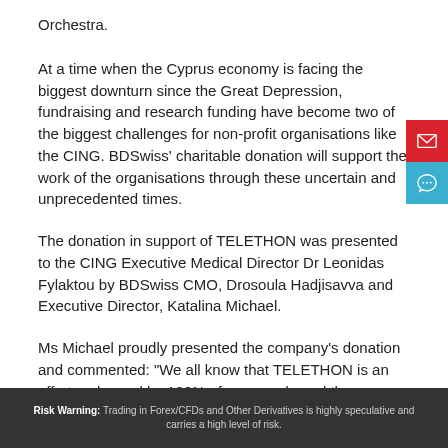Orchestra.
At a time when the Cyprus economy is facing the biggest downturn since the Great Depression, fundraising and research funding have become two of the biggest challenges for non-profit organisations like the CING. BDSwiss' charitable donation will support the work of the organisations through these uncertain and unprecedented times.
The donation in support of TELETHON was presented to the CING Executive Medical Director Dr Leonidas Fylaktou by BDSwiss CMO, Drosoula Hadjisavva and Executive Director, Katalina Michael.
Ms Michael proudly presented the company's donation and commented: "We all know that TELETHON is an effort embraced by 100% of our people and their contribution to support the work of the CING and provide
Risk Warning: Trading in Forex/CFDs and Other Derivatives is highly speculative and carries a high level of risk.